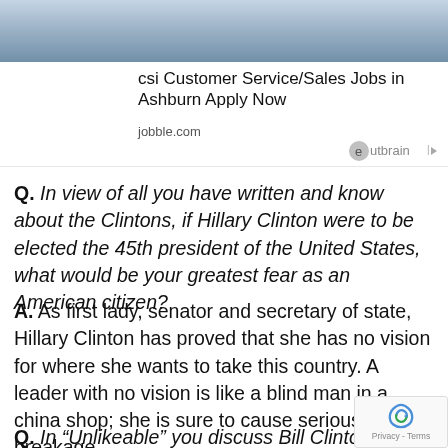[Figure (photo): Top portion of a photo showing people in a store/retail environment, partially cropped]
csi Customer Service/Sales Jobs in Ashburn Apply Now
jobble.com
[Figure (logo): Outbrain logo with circular icon and arrow]
Q. In view of all you have written and know about the Clintons, if Hillary Clinton were to be elected the 45th president of the United States, what would be your greatest fear as an American citizen?
A. As first lady, senator and secretary of state, Hillary Clinton has proved that she has no vision for where she wants to take this country. A leader with no vision is like a blind man in a china shop; she is sure to cause serious breakage.
Q. In “Unlikeable” you discuss Bill Clinton’s future role if Hillary were to become president, writing: “Or he might